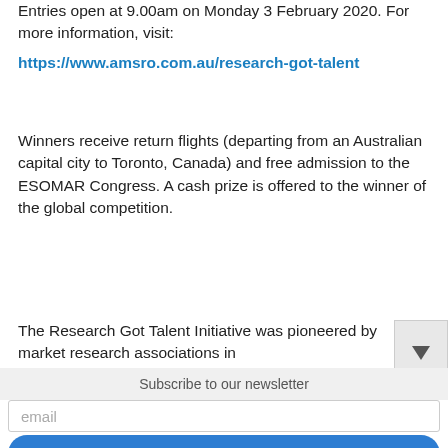Entries open at 9.00am on Monday 3 February 2020. For more information, visit:
https://www.amsro.com.au/research-got-talent
Winners receive return flights (departing from an Australian capital city to Toronto, Canada) and free admission to the ESOMAR Congress. A cash prize is offered to the winner of the global competition.
The Research Got Talent Initiative was pioneered by market research associations in
Subscribe to our newsletter
email
Subscribe